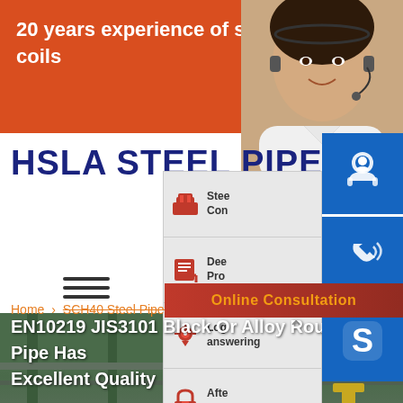20 years experience of steel plates, coils
HSLA STEEL PIPE FA
[Figure (photo): Customer service representative with headset, smiling]
[Figure (infographic): Side panel with icons: Steel Con..., Dee... Pro..., Log... answering..., Afte... Ser...]
[Figure (infographic): Three blue contact buttons on right side: headset/customer service icon, phone icon, Skype S icon]
Online Consultation
[Figure (photo): Factory interior with steel plates and industrial equipment]
Home › SCH40 Steel Pipes ›
EN10219 JIS3101 Black Or Alloy Round Pipe Has Excellent Quality